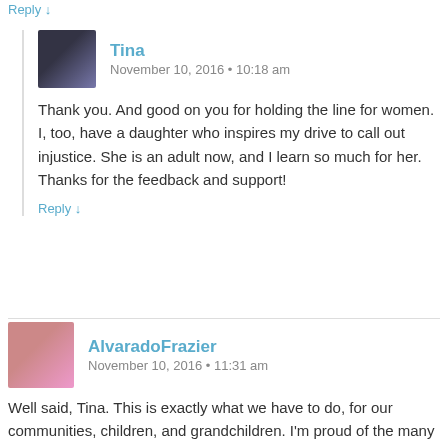Reply ↓
Tina
November 10, 2016 • 10:18 am
Thank you. And good on you for holding the line for women. I, too, have a daughter who inspires my drive to call out injustice. She is an adult now, and I learn so much for her. Thanks for the feedback and support!
Reply ↓
AlvaradoFrazier
November 10, 2016 • 11:31 am
Well said, Tina. This is exactly what we have to do, for our communities, children, and grandchildren. I'm proud of the many protests happening around the nation and doubly so when my son sent me a photo last night of a Denver protest in which he participated. We all have a part in carrying on and